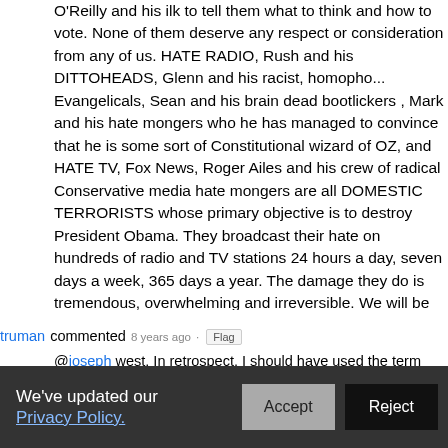O'Reilly and his ilk to tell them what to think and how to vote. None of them deserve any respect or consideration from any of us. HATE RADIO, Rush and his DITTOHEADS, Glenn and his racist, homopho... Evangelicals, Sean and his brain dead bootlickers , Mark and his hate mongers who he has managed to convince that he is some sort of Constitutional wizard of OZ, and HATE TV, Fox News, Roger Ailes and his crew of radical Conservative media hate mongers are all DOMESTIC TERRORISTS whose primary objective is to destroy President Obama. They broadcast their hate on hundreds of radio and TV stations 24 hours a day, seven days a week, 365 days a year. The damage they do is tremendous, overwhelming and irreversible. We will be paying the price for decades. They are the problem, not the solution.
truman commented  8 years ago · Flag
@joseph west. In retrospect, I should have used the term "emotional maturity." From that standpoint, Bildo is still hanging around the girls' gym locker room trying to catch a peek.
Joseph West commented  8 years ago · Flag
We've updated our Privacy Policy. Accept Reject